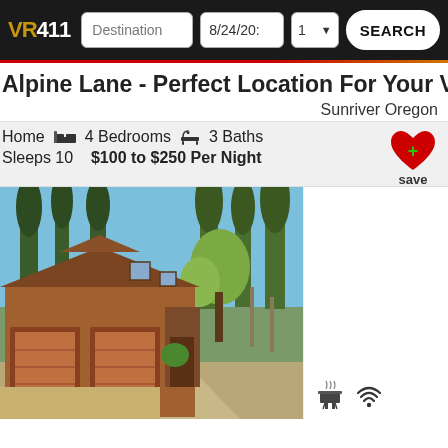VR411 | Destination | 8/24/20: | 1 | SEARCH
Alpine Lane - Perfect Location For Your Vacation
Sunriver Oregon
Home  4 Bedrooms  3 Baths  Sleeps 10  $100 to $250 Per Night
[Figure (photo): Exterior photo of a wooden vacation home with garage doors, surrounded by tall pine trees and other trees in Sunriver, Oregon]
[Figure (infographic): Small icons for WiFi and amenities at bottom right of page]